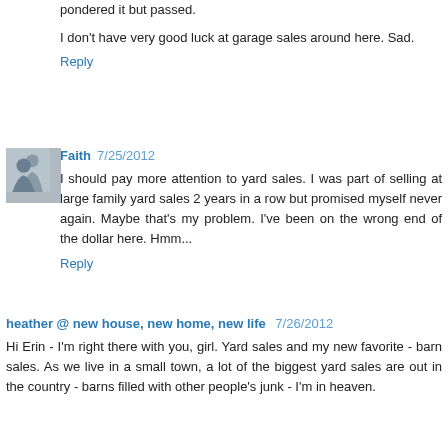pondered it but passed.
I don't have very good luck at garage sales around here. Sad.
Reply
Faith 7/25/2012
I should pay more attention to yard sales. I was part of selling at large family yard sales 2 years in a row but promised myself never again. Maybe that's my problem. I've been on the wrong end of the dollar here. Hmm...
Reply
heather @ new house, new home, new life 7/26/2012
Hi Erin - I'm right there with you, girl. Yard sales and my new favorite - barn sales. As we live in a small town, a lot of the biggest yard sales are out in the country - barns filled with other people's junk - I'm in heaven.